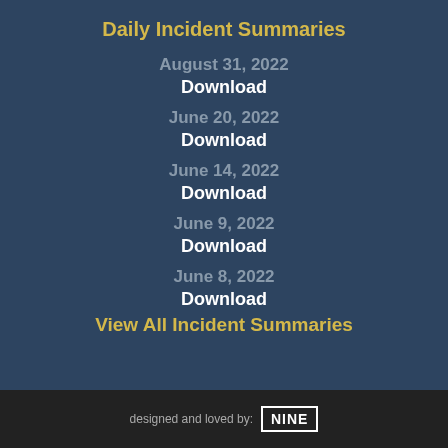Daily Incident Summaries
August 31, 2022
Download
June 20, 2022
Download
June 14, 2022
Download
June 9, 2022
Download
June 8, 2022
Download
View All Incident Summaries
designed and loved by: NINE